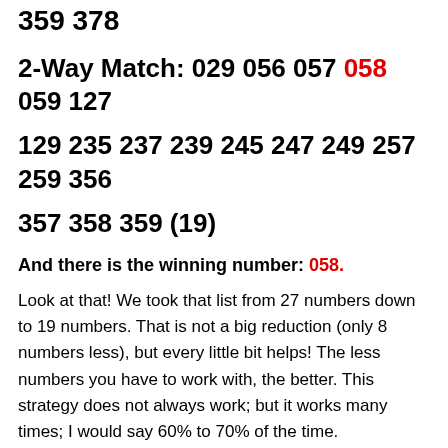359 378
2-Way Match: 029 056 057 058 059 127
129 235 237 239 245 247 249 257 259 356
357 358 359 (19)
And there is the winning number: 058.
Look at that! We took that list from 27 numbers down to 19 numbers. That is not a big reduction (only 8 numbers less), but every little bit helps! The less numbers you have to work with, the better. This strategy does not always work; but it works many times; I would say 60% to 70% of the time.
So back test this strategy; use the 40 power numbers on